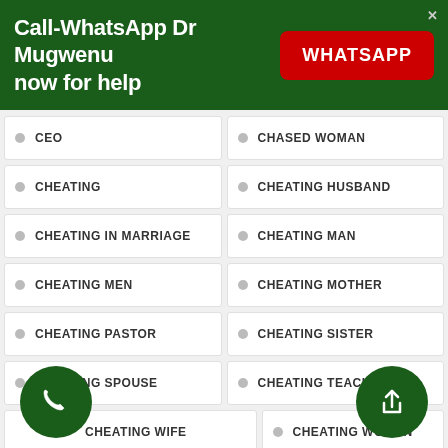Call-WhatsApp Dr Mugwenu now for help
CEO
CHASED WOMAN
CHEATING
CHEATING HUSBAND
CHEATING IN MARRIAGE
CHEATING MAN
CHEATING MEN
CHEATING MOTHER
CHEATING PASTOR
CHEATING SISTER
CHEATING SPOUSE
CHEATING TEACHER
CHEATING WIFE
CHEATING WOMAN
CHILDLESSNES
CHILDREN